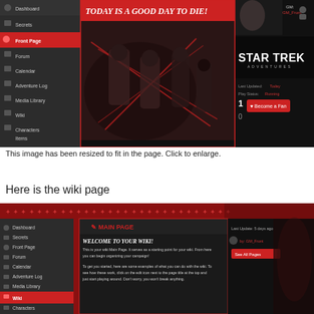[Figure (screenshot): Screenshot of a Star Trek Adventures campaign page on a virtual tabletop/campaign management website. Shows a dark-themed interface with a red left sidebar containing navigation items: Dashboard, Secrets, Front Page (active/highlighted in red), Forum, Calendar, Adventure Log, Media Library, Wiki, Characters, Items, Maps. Center shows a banner image of Klingon warriors with the title 'Today is a good day to die!' in red. Right panel shows GM info, Star Trek Adventures logo, Last Updated: Today, Play Status: Running, a heart/fan button, and a counter showing 1.]
This image has been resized to fit in the page. Click to enlarge.
Here is the wiki page
[Figure (screenshot): Screenshot of the Wiki page of the same Star Trek Adventures campaign site. Shows the same dark red-themed interface with left sidebar (Dashboard, Secrets, Front Page, Forum, Calendar, Adventure Log, Media Library, Wiki highlighted in red, Characters visible). A decorative header banner with red Klingon-style text. Main content area shows 'MAIN PAGE' heading in red, 'Welcome to Your Wiki!' subtitle, and body text: 'This is your wiki Main Page. It serves as a starting point for your wiki. From here you can begin organizing your campaign! To get you started, here are some examples of what you can do with the wiki. To see how these work, click on the edit icon next to the page title at the top and just start playing around. Don't worry, you won't break anything.' Right panel shows Last Update: 5 days ago, by: [name], and a red 'See All Pages' button.]